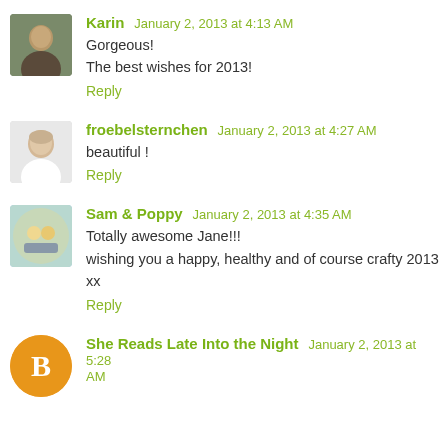Karin  January 2, 2013 at 4:13 AM
Gorgeous!
The best wishes for 2013!
Reply
froebelsternchen  January 2, 2013 at 4:27 AM
beautiful !
Reply
Sam & Poppy  January 2, 2013 at 4:35 AM
Totally awesome Jane!!!
wishing you a happy, healthy and of course crafty 2013 xx
Reply
She Reads Late Into the Night  January 2, 2013 at 5:28 AM